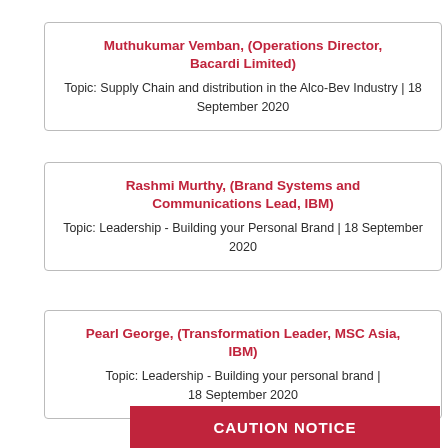Muthukumar Vemban, (Operations Director, Bacardi Limited)
Topic: Supply Chain and distribution in the Alco-Bev Industry | 18 September 2020
Rashmi Murthy, (Brand Systems and Communications Lead, IBM)
Topic: Leadership - Building your Personal Brand | 18 September 2020
Pearl George, (Transformation Leader, MSC Asia, IBM)
Topic: Leadership - Building your personal brand | 18 September 2020